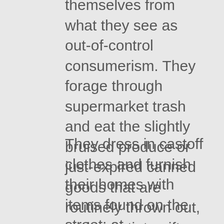themselves from what they see as out-of-control consumerism. They forage through supermarket trash and eat the slightly bruised produce or just-expired canned goods that are routinely thrown out, and negotiate gifts of surplus food from sympathetic stores and restaurants.
They dress in castoff clothes and furnish their homes with items found on the street; at freecycle.org, where users post unwanted items; and at so-called freemeets, flea markets where no money is exchanged. Some claim to